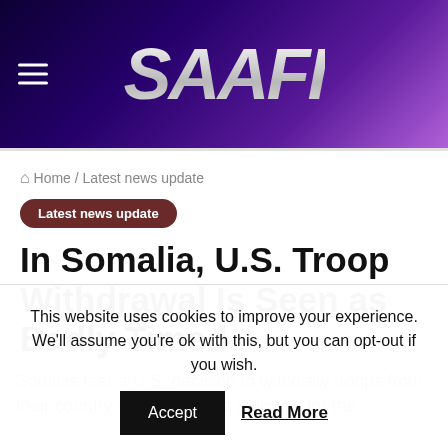SAAFI
Home / Latest news update
Latest news update
In Somalia, U.S. Troop Withdrawal Is Seen as Badly Timed
Somalis fear a U.S. decision to withdraw troops from their country will be seen as a victory for the
This website uses cookies to improve your experience. We'll assume you're ok with this, but you can opt-out if you wish. Accept Read More